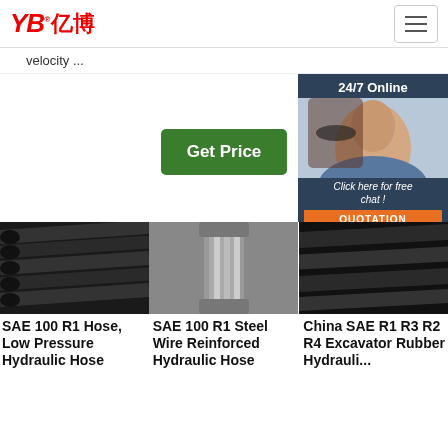YB亿博
velocity ...
[Figure (other): Green 'Get Price' button]
[Figure (other): Chat widget: 24/7 Online, woman with headset, Click here for free chat!, QUOTATION button]
[Figure (photo): SAE 100 R1 low pressure hydraulic hose - black rubber hoses bundled together]
[Figure (photo): SAE 100 R1 steel wire reinforced hydraulic hose - close-up of fitting]
[Figure (photo): China SAE R1 R3 R2 R4 excavator rubber hydraulic hose]
SAE 100 R1 Hose, Low Pressure Hydraulic Hose
SAE 100 R1 Steel Wire Reinforced Hydraulic Hose
China SAE R1 R3 R2 R4 Excavator Rubber Hydraulic